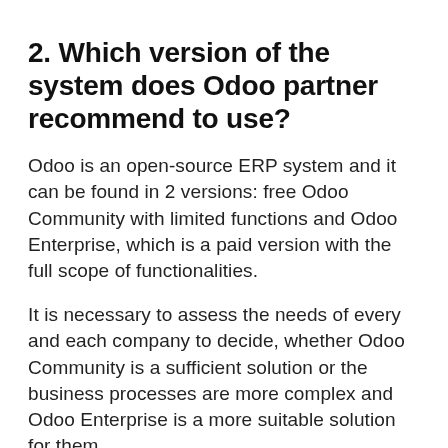2. Which version of the system does Odoo partner recommend to use?
Odoo is an open-source ERP system and it can be found in 2 versions: free Odoo Community with limited functions and Odoo Enterprise, which is a paid version with the full scope of functionalities.
It is necessary to assess the needs of every and each company to decide, whether Odoo Community is a sufficient solution or the business processes are more complex and Odoo Enterprise is a more suitable solution for them.